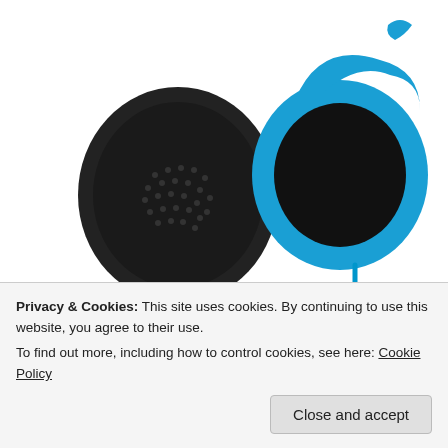[Figure (photo): Nixon Trooper headphones shown from two angles: a black earcup on the left and a bright blue headphone with cable on the right, on white background]
Nixon "Trooper" Headphones (HERE)
[Figure (photo): Interior photo of a futuristic store or exhibit space with white curved furniture and a person taking a photo]
Privacy & Cookies: This site uses cookies. By continuing to use this website, you agree to their use.
To find out more, including how to control cookies, see here: Cookie Policy
Close and accept